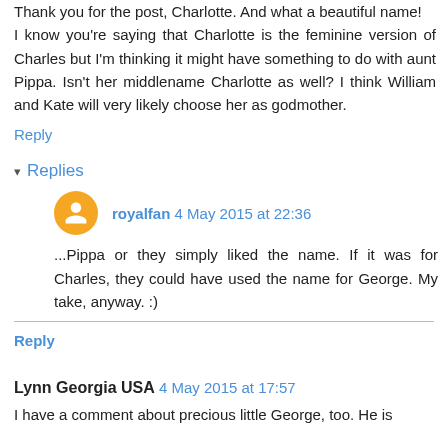Thank you for the post, Charlotte. And what a beautiful name! I know you're saying that Charlotte is the feminine version of Charles but I'm thinking it might have something to do with aunt Pippa. Isn't her middlename Charlotte as well? I think William and Kate will very likely choose her as godmother.
Reply
▾ Replies
royalfan 4 May 2015 at 22:36
...Pippa or they simply liked the name. If it was for Charles, they could have used the name for George. My take, anyway. :)
Reply
Lynn Georgia USA 4 May 2015 at 17:57
I have a comment about precious little George, too. He is